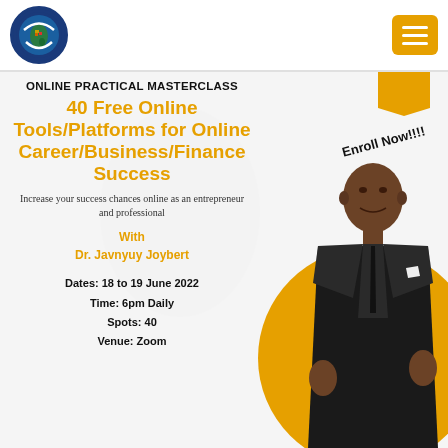[Figure (logo): Africa map logo inside dark blue circle]
[Figure (other): Orange hamburger menu button in top right]
ONLINE PRACTICAL MASTERCLASS
40 Free Online Tools/Platforms for Online Career/Business/Finance Success
Increase your success chances online as an entrepreneur and professional
With
Dr. Javnyuy Joybert
Dates: 18 to 19 June 2022
Time: 6pm Daily
Spots: 40
Venue: Zoom
[Figure (photo): Man in black suit standing, photo on right side with orange circle background]
Enroll Now!!!!